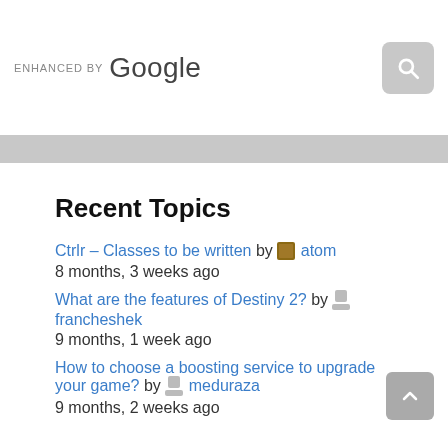[Figure (screenshot): Search bar with 'ENHANCED BY Google' label and search button]
Recent Topics
Ctrlr – Classes to be written by atom
8 months, 3 weeks ago
What are the features of Destiny 2? by francheshek
9 months, 1 week ago
How to choose a boosting service to upgrade your game? by meduraza
9 months, 2 weeks ago